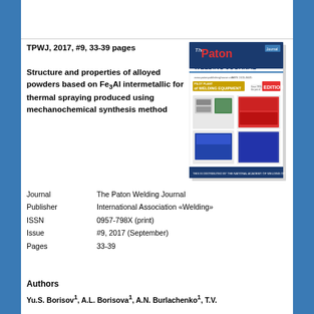TPWJ, 2017, #9, 33-39 pages
[Figure (photo): Cover image of The Paton Welding Journal issue #9, 2017, showing welding equipment on the cover with red and blue branding.]
Structure and properties of alloyed powders based on Fe3Al intermetallic for thermal spraying produced using mechanochemical synthesis method
| Field | Value |
| --- | --- |
| Journal | The Paton Welding Journal |
| Publisher | International Association «Welding» |
| ISSN | 0957-798X (print) |
| Issue | #9, 2017 (September) |
| Pages | 33-39 |
Authors
Yu.S. Borisov1, A.L. Borisova1, A.N. Burlachenko1, T.V.